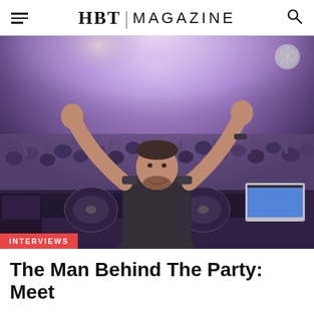HBT MAGAZINE
[Figure (photo): A DJ with arms raised facing a large crowd at a nightclub or concert venue, standing behind DJ equipment including turntables and a laptop. Stage lights illuminate the crowd in purple/blue tones.]
INTERVIEWS
The Man Behind The Party: Meet